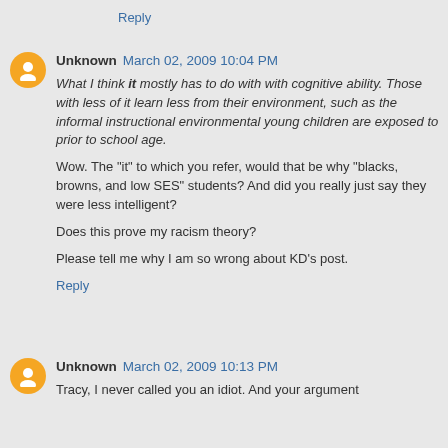Reply
Unknown  March 02, 2009 10:04 PM
What I think it mostly has to do with with cognitive ability. Those with less of it learn less from their environment, such as the informal instructional environmental young children are exposed to prior to school age.
Wow. The "it" to which you refer, would that be why "blacks, browns, and low SES" students? And did you really just say they were less intelligent?
Does this prove my racism theory?
Please tell me why I am so wrong about KD's post.
Reply
Unknown  March 02, 2009 10:13 PM
Tracy, I never called you an idiot. And your argument